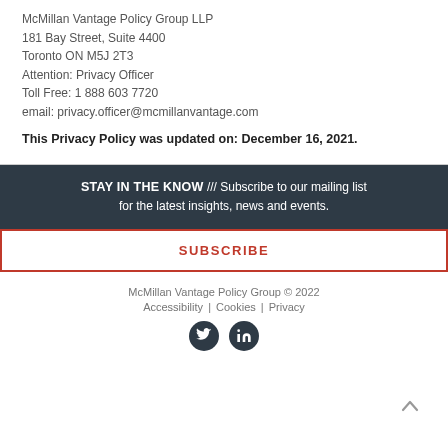McMillan Vantage Policy Group LLP
181 Bay Street, Suite 4400
Toronto ON M5J 2T3
Attention: Privacy Officer
Toll Free: 1 888 603 7720
email: privacy.officer@mcmillanvantage.com
This Privacy Policy was updated on: December 16, 2021.
STAY IN THE KNOW /// Subscribe to our mailing list for the latest insights, news and events.
SUBSCRIBE
McMillan Vantage Policy Group © 2022
Accessibility | Cookies | Privacy